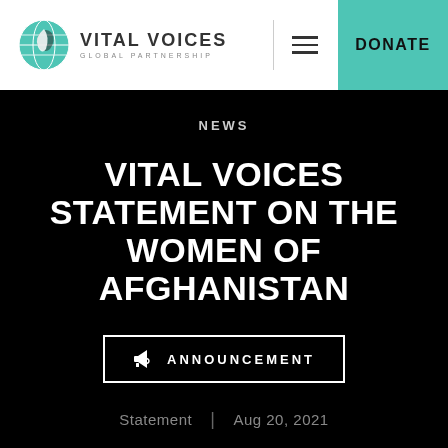[Figure (logo): Vital Voices Global Partnership logo with teal globe icon and organization name]
DONATE
NEWS
VITAL VOICES STATEMENT ON THE WOMEN OF AFGHANISTAN
ANNOUNCEMENT
Statement  |  Aug 20, 2021
[Figure (infographic): Social media sharing icons: Facebook (f), Twitter (bird), LinkedIn (in)]